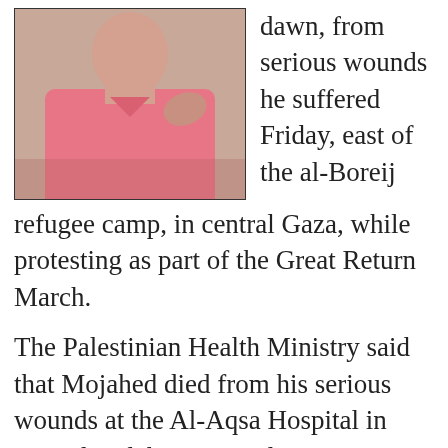[Figure (photo): Photo of a person wearing a pink v-neck shirt, upper body visible, hand on shoulder area.]
dawn, from serious wounds he suffered Friday, east of the al-Boreij refugee camp, in central Gaza, while protesting as part of the Great Return March.
The Palestinian Health Ministry said that Mojahed died from his serious wounds at the Al-Aqsa Hospital in Deir al-Balah, in central Gaza.
He was shot, east of the al-Boreij refugee camp in central Gaza, during Friday's Great Return March processions, in which the soldiers killed four Palestinians, injured 300 others, including 100